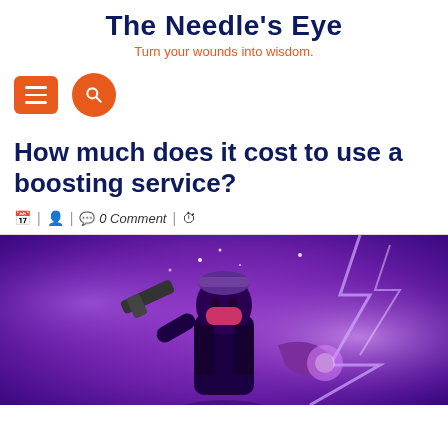The Needle's Eye
Turn your wounds into wisdom.
[Figure (screenshot): Navigation icons: orange square menu button with three horizontal lines, and orange circular search button with magnifying glass icon]
How much does it cost to use a boosting service?
| | 0 Comment |
[Figure (illustration): Fortnite-style video game character with mask and gun on purple glowing background with lightning effects]